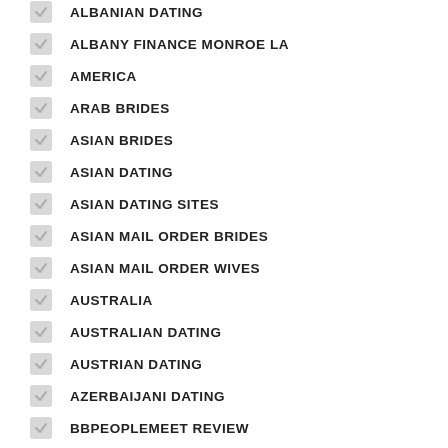ALBANIAN DATING
ALBANY FINANCE MONROE LA
AMERICA
ARAB BRIDES
ASIAN BRIDES
ASIAN DATING
ASIAN DATING SITES
ASIAN MAIL ORDER BRIDES
ASIAN MAIL ORDER WIVES
AUSTRALIA
AUSTRALIAN DATING
AUSTRIAN DATING
AZERBAIJANI DATING
BBPEOPLEMEET REVIEW